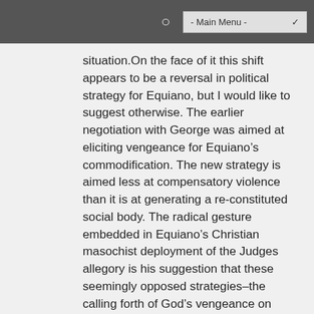- Main Menu -
situation.On the face of it this shift appears to be a reversal in political strategy for Equiano, but I would like to suggest otherwise. The earlier negotiation with George was aimed at eliciting vengeance for Equiano’s commodification. The new strategy is aimed less at compensatory violence than it is at generating a re-constituted social body. The radical gesture embedded in Equiano’s Christian masochist deployment of the Judges allegory is his suggestion that these seemingly opposed strategies–the calling forth of God’s vengeance on those who enslaved him, and his purchasing of slaves like himself–are in fact politically continuous. What Kamuf says of Judges is equally applicable to this segment of The Interesting Narrative: